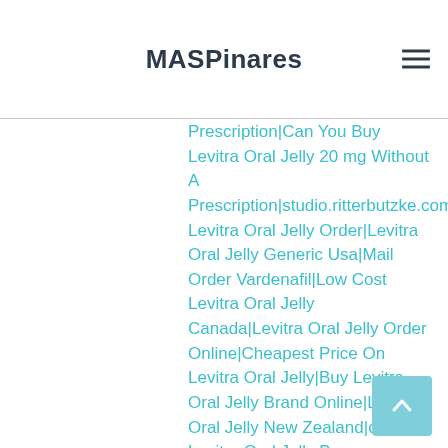MASPinares
Prescription|Can You Buy Levitra Oral Jelly 20 mg Without A Prescription|studio.ritterbutzke.com|studio.ritterbutzke.com|studio.ritterbutzke.com|studio.ritterbutzke.com|studio.ritterbutzke.com|studio.ritterbutzke.com|studio.ritterbutzke.com|studio.ritterbutzkе.com|Best Levitra Oral Jelly Order|Levitra Oral Jelly Generic Usa|Mail Order Vardenafil|Low Cost Levitra Oral Jelly Canada|Levitra Oral Jelly Order Online|Cheapest Price On Levitra Oral Jelly|Buy Levitra Oral Jelly Brand Online|Levitra Oral Jelly New Zealand|cheap Levitra Oral Jelly Buy online|How Much Is A Levitra Oral Jelly}{Where To Get Terazosin|Where To Get Terazosin|Where To Get